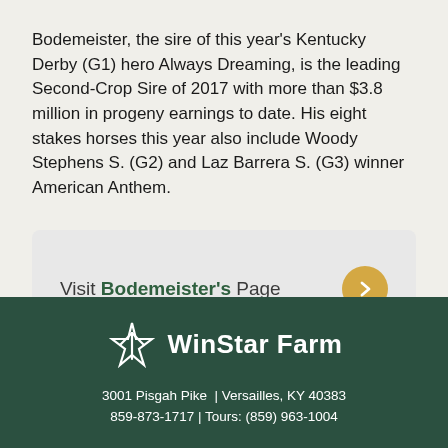Bodemeister, the sire of this year's Kentucky Derby (G1) hero Always Dreaming, is the leading Second-Crop Sire of 2017 with more than $3.8 million in progeny earnings to date. His eight stakes horses this year also include Woody Stephens S. (G2) and Laz Barrera S. (G3) winner American Anthem.
[Figure (infographic): A button/card element with text 'Visit Bodemeister's Page' and an orange circular arrow button on the right, set on a light gray rounded card background.]
[Figure (logo): WinStar Farm logo with a star icon and the text 'WinStar Farm' in white on a dark green background footer, with address 3001 Pisgah Pike | Versailles, KY 40383, 859-873-1717 | Tours: (859) 963-1004]